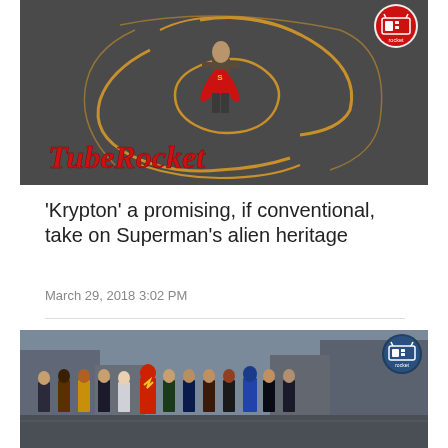[Figure (photo): TubeRocket branded image showing a figure standing on a Superman logo pattern drawn on asphalt, with red cape. Red cursive TubeRocket logo overlaid at bottom left. Circular TubeRocket logo badge in top right corner.]
‘Krypton’ a promising, if conventional, take on Superman’s alien heritage
March 29, 2018 3:02 PM
[Figure (photo): TubeRocket branded image showing a group of superhero characters (from DC's Arrowverse) standing in a line on a city street. Circular TubeRocket logo badge in top right corner.]